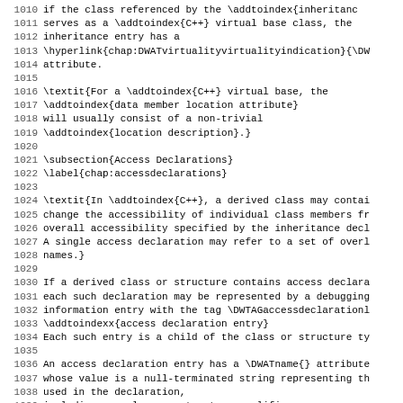1010 if the class referenced by the \addtoindex{inheritanc
1011 serves as a \addtoindex{C++} virtual base class, the
1012 inheritance entry has a
1013 \hyperlink{chap:DWATvirtualityvirtualityindication}{\DW
1014 attribute.
1015
1016 \textit{For a \addtoindex{C++} virtual base, the
1017 \addtoindex{data member location attribute}
1018 will usually consist of a non-trivial
1019 \addtoindex{location description}.}
1020
1021 \subsection{Access Declarations}
1022 \label{chap:accessdeclarations}
1023
1024 \textit{In \addtoindex{C++}, a derived class may contai
1025 change the accessibility of individual class members fr
1026 overall accessibility specified by the inheritance decl
1027 A single access declaration may refer to a set of overl
1028 names.}
1029
1030 If a derived class or structure contains access declara
1031 each such declaration may be represented by a debugging
1032 information entry with the tag \DWTAGaccessdeclarationl
1033 \addtoindexx{access declaration entry}
1034 Each such entry is a child of the class or structure ty
1035
1036 An access declaration entry has a \DWATname{} attribute
1037 whose value is a null-terminated string representing th
1038 used in the declaration,
1039 including any class or structure qualifiers.
1040
1041 An\hypertarget{chap:DWATaccessdeclaration}{}
1042 access declaration entry also has a